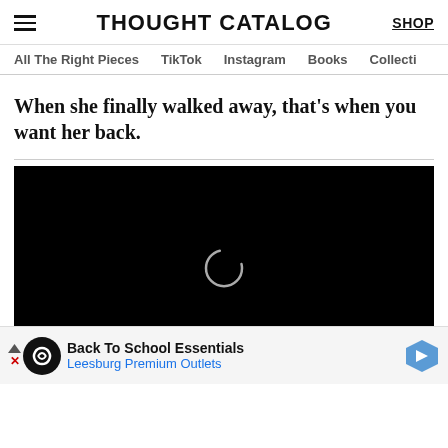THOUGHT CATALOG
All The Right Pieces  TikTok  Instagram  Books  Collecti
When she finally walked away, that's when you want her back.
[Figure (screenshot): Embedded video player showing a black screen with a loading spinner. Video controls show 00:00 / 29:57. Below is an advertisement for Back To School Essentials - Leesburg Premium Outlets.]